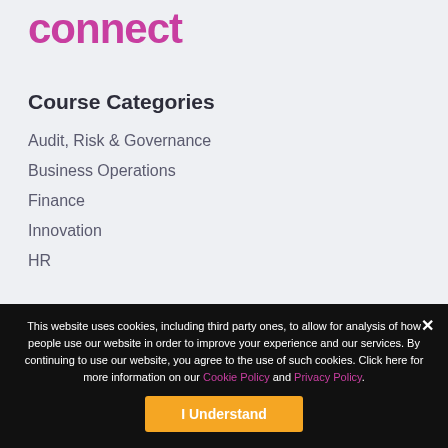connect
Course Categories
Audit, Risk & Governance
Business Operations
Finance
Innovation
HR
This website uses cookies, including third party ones, to allow for analysis of how people use our website in order to improve your experience and our services. By continuing to use our website, you agree to the use of such cookies. Click here for more information on our Cookie Policy and Privacy Policy.
I Understand